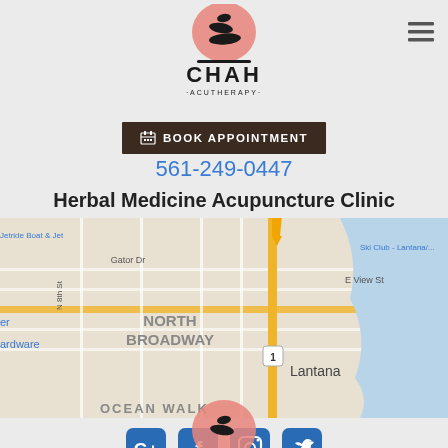[Figure (logo): CHAH Acutherapy logo with stacked stones and salmon/pink circle, black text CHAH with ACUTHERAPY below]
[Figure (other): Hamburger menu icon (three horizontal lines) in top right]
BOOK APPOINTMENT
561-249-0447
Herbal Medicine Acupuncture Clinic
[Figure (map): Google Maps screenshot showing Lantana area with North Broadway neighborhood, E View St, Gator Dr, N 8th St, yellow road markers, blue water body on right, Lantana label, Jetride Boat & Jet Ski Club partial text, OCEAN WALK partial text at bottom]
[Figure (other): Four social media icons in a row: Google+, Facebook, Instagram, Twitter — all blue rounded squares]
[Figure (logo): Partial CHAH Acutherapy logo visible at bottom of page, showing salmon/pink circle with black stone illustration]